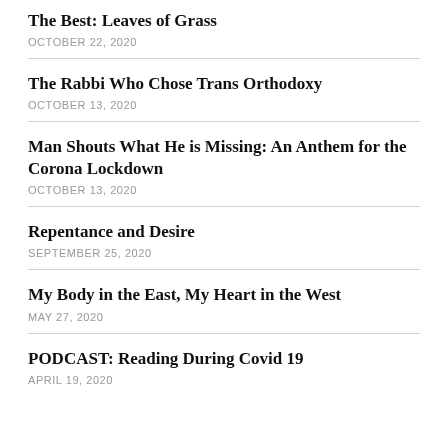The Best: Leaves of Grass
OCTOBER 22, 2020
The Rabbi Who Chose Trans Orthodoxy
OCTOBER 13, 2020
Man Shouts What He is Missing: An Anthem for the Corona Lockdown
OCTOBER 13, 2020
Repentance and Desire
SEPTEMBER 25, 2020
My Body in the East, My Heart in the West
MAY 27, 2020
PODCAST: Reading During Covid 19
APRIL 19, 2020